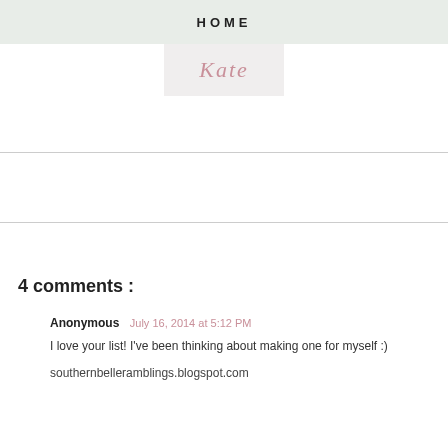HOME
[Figure (logo): Blog logo with pink cursive script text on light gray/white background]
4 comments :
Anonymous  July 16, 2014 at 5:12 PM
I love your list! I've been thinking about making one for myself :)
southernbelleramblings.blogspot.com